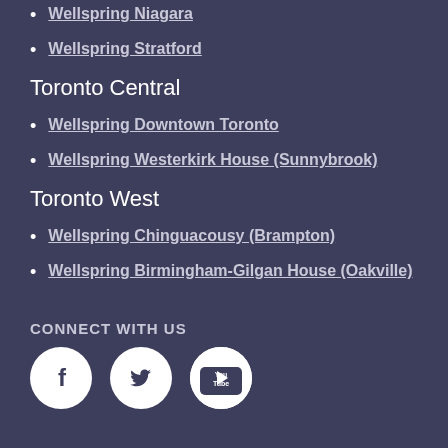Wellspring Niagara
Wellspring Stratford
Toronto Central
Wellspring Downtown Toronto
Wellspring Westerkirk House (Sunnybrook)
Toronto West
Wellspring Chinguacousy (Brampton)
Wellspring Birmingham-Gilgan House (Oakville)
CONNECT WITH US
[Figure (illustration): Three social media icons in white circles on dark background: Facebook (f), Twitter (bird), YouTube (play button with 'You Tube' text)]